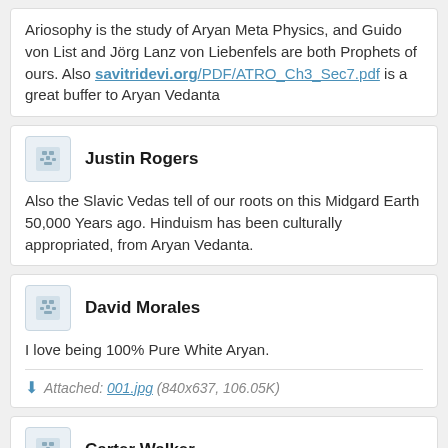Ariosophy is the study of Aryan Meta Physics, and Guido von List and Jörg Lanz von Liebenfels are both Prophets of ours. Also savitridevi.org/PDF/ATRO_Ch3_Sec7.pdf is a great buffer to Aryan Vedanta
Justin Rogers
Also the Slavic Vedas tell of our roots on this Midgard Earth 50,000 Years ago. Hinduism has been culturally appropriated, from Aryan Vedanta.
David Morales
I love being 100% Pure White Aryan.
Attached: 001.jpg (840x637, 106.05K)
Carter Walker
The Mormons will return to their Nature of Arvandom as